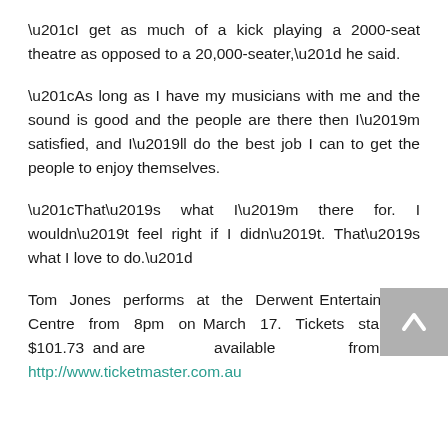“I get as much of a kick playing a 2000-seat theatre as opposed to a 20,000-seater,” he said.
“As long as I have my musicians with me and the sound is good and the people are there then I’m satisfied, and I’ll do the best job I can to get the people to enjoy themselves.
“That’s what I’m there for. I wouldn’t feel right if I didn’t. That’s what I love to do.”
Tom Jones performs at the Derwent Entertainment Centre from 8pm on March 17. Tickets start at $101.73 and are available from http://www.ticketmaster.com.au